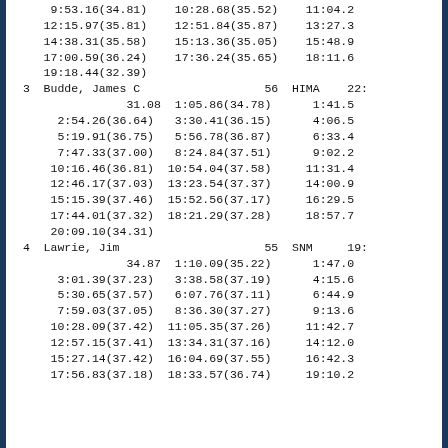| 9:53.16(34.81) | 10:28.68(35.52) | 11:04.2 |
| 12:15.97(35.81) | 12:51.84(35.87) | 13:27.3 |
| 14:38.31(35.58) | 15:13.36(35.05) | 15:48.9 |
| 17:00.59(36.24) | 17:36.24(35.65) | 18:11.6 |
| 19:18.44(32.39) |  |  |
| 3  Budde, James C | 56  HIMA | 22: |
|  | 31.08 | 1:05.86(34.78) | 1:41.5 |
| 2:54.26(36.64) | 3:30.41(36.15) | 4:06.5 |
| 5:19.91(36.75) | 5:56.78(36.87) | 6:33.4 |
| 7:47.33(37.00) | 8:24.84(37.51) | 9:02.2 |
| 10:16.46(36.81) | 10:54.04(37.58) | 11:31.4 |
| 12:46.17(37.03) | 13:23.54(37.37) | 14:00.9 |
| 15:15.39(37.46) | 15:52.56(37.17) | 16:29.5 |
| 17:44.01(37.32) | 18:21.29(37.28) | 18:57.7 |
| 20:09.10(34.31) |  |  |
| 4  Lawrie, Jim | 55  SNM | 19: |
|  | 34.87 | 1:10.09(35.22) | 1:47.0 |
| 3:01.39(37.23) | 3:38.58(37.19) | 4:15.6 |
| 5:30.65(37.57) | 6:07.76(37.11) | 6:44.9 |
| 7:59.03(37.05) | 8:36.30(37.27) | 9:13.6 |
| 10:28.09(37.42) | 11:05.35(37.26) | 11:42.7 |
| 12:57.15(37.41) | 13:34.31(37.16) | 14:12.0 |
| 15:27.14(37.42) | 16:04.69(37.55) | 16:42.3 |
| 17:56.83(37.18) | 18:33.57(36.74) | 19:10.2 |